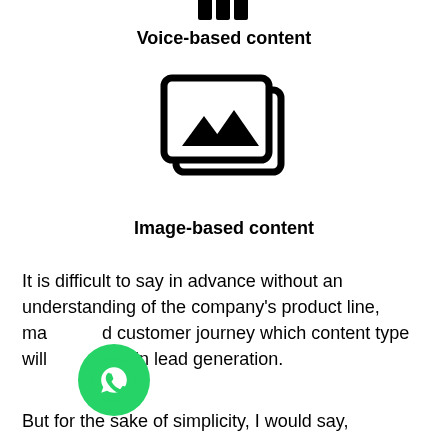[Figure (illustration): Partial icon at top (audio/voice waveform bars cropped at top)]
Voice-based content
[Figure (illustration): Image content icon: a picture frame with mountains and a duplicate behind it]
Image-based content
It is difficult to say in advance without an understanding of the company’s product line, market and customer journey which content type will be helpful in lead generation.
But for the sake of simplicity, I would say,